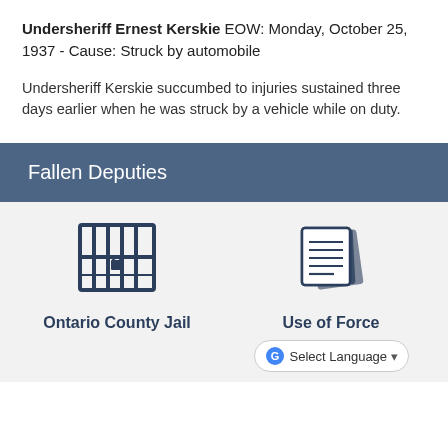Undersheriff Ernest Kerskie EOW: Monday, October 25, 1937 - Cause: Struck by automobile
Undersheriff Kerskie succumbed to injuries sustained three days earlier when he was struck by a vehicle while on duty.
Fallen Deputies
[Figure (illustration): Icon of jail cell bars with lock, representing Ontario County Jail]
Ontario County Jail
[Figure (illustration): Icon of stacked documents/papers, representing Use of Force]
Use of Force